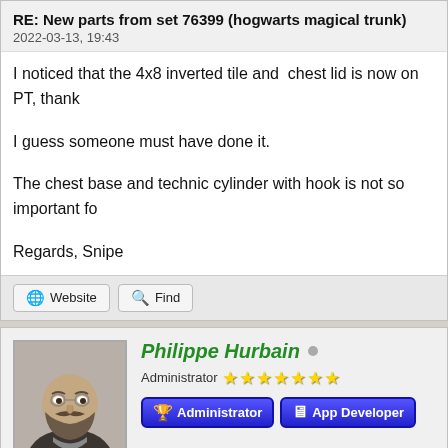RE: New parts from set 76399 (hogwarts magical trunk)
2022-03-13, 19:43
I noticed that the 4x8 inverted tile and  chest lid is now on PT, thank
I guess someone must have done it.
The chest base and technic cylinder with hook is not so important fo
Regards, Snipe
Website   Find
Philippe Hurbain
Administrator
Administrator   App Developer